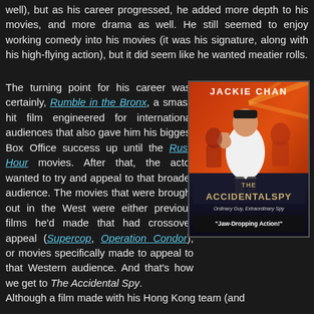well), but as his career progressed, he added more depth to his movies, and more drama as well. He still seemed to enjoy working comedy into his movies (it was his signature, along with his high-flying action), but it did seem like he wanted meatier rolls.
The turning point for his career was, certainly, Rumble in the Bronx, a smash hit film engineered for international audiences that also gave him his biggest Box Office success up until the Rush Hour movies. After that, the actor wanted to try and appeal to that broader audience. The movies that were brought out in the West were either previous films he'd made that had crossover appeal (Supercop, Operation Condor), or movies specifically made to appeal to that Western audience. And that's how we get to The Accidental Spy.
[Figure (photo): Movie poster for The Accidental Spy featuring Jackie Chan. Text reads: JACKIE CHAN, THE ACCIDENTAL SPY, Ordinary Guy, Extraordinary Spy, Jaw-Dropping Action!]
Although a film made with his Hong Kong team (and